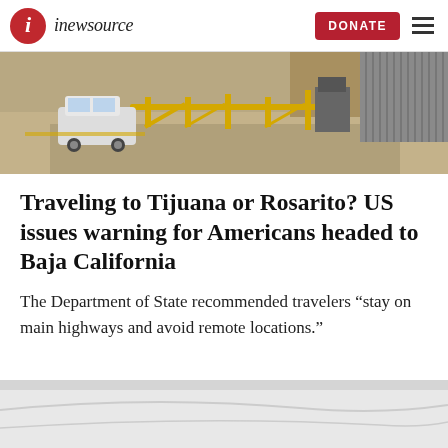inewsource
[Figure (photo): Border crossing area with a white SUV, yellow metal barriers, and a tall border wall in the background. Dirt road and rocky hillside visible.]
Traveling to Tijuana or Rosarito? US issues warning for Americans headed to Baja California
The Department of State recommended travelers “stay on main highways and avoid remote locations.”
[Figure (photo): Partial view of a light-colored surface, appears to be sky or a wall — bottom of page crop.]